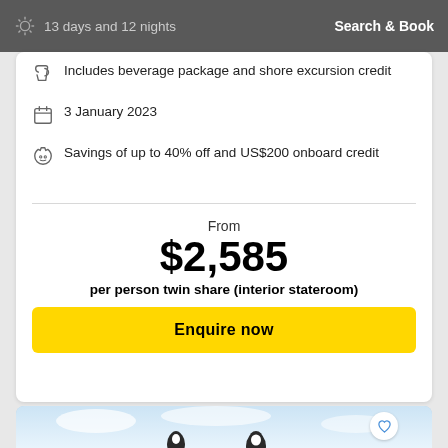13 days and 12 nights | Search & Book
Includes beverage package and shore excursion credit
3 January 2023
Savings of up to 40% off and US$200 onboard credit
From
$2,585
per person twin share (interior stateroom)
Enquire now
[Figure (photo): Bottom portion of a second cruise card showing a scenic image with penguin figures in snow/ice setting]